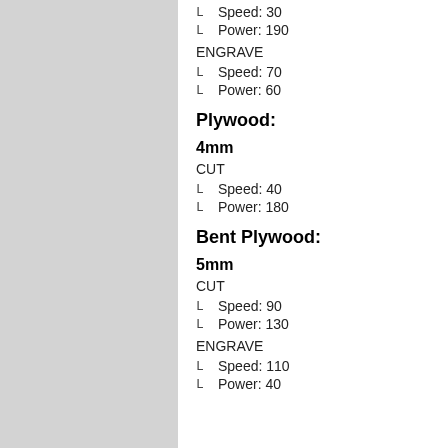L  Speed: 30
L  Power: 190
ENGRAVE
L  Speed: 70
L  Power: 60
Plywood:
4mm
CUT
L  Speed: 40
L  Power: 180
Bent Plywood:
5mm
CUT
L  Speed: 90
L  Power: 130
ENGRAVE
L  Speed: 110
L  Power: 40